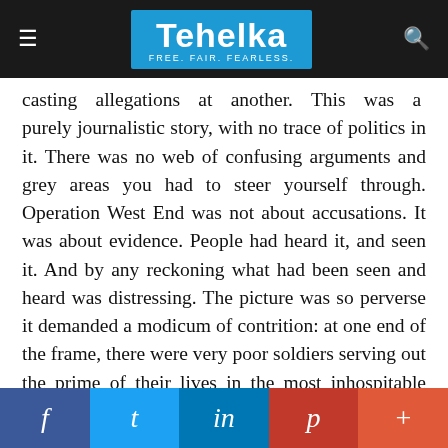Tehelka — FREE. FAIR. FEARLESS.
casting allegations at another. This was a purely journalistic story, with no trace of politics in it. There was no web of confusing arguments and grey areas you had to steer yourself through. Operation West End was not about accusations. It was about evidence. People had heard it, and seen it. And by any reckoning what had been seen and heard was distressing. The picture was so perverse it demanded a modicum of contrition: at one end of the frame, there were very poor soldiers serving out the prime of their lives in the most inhospitable conditions for a few thousand rupees a month; and at the other, sleazy fat cats cutting dubious deals worth hundreds of crores in
f  t  in  p  +